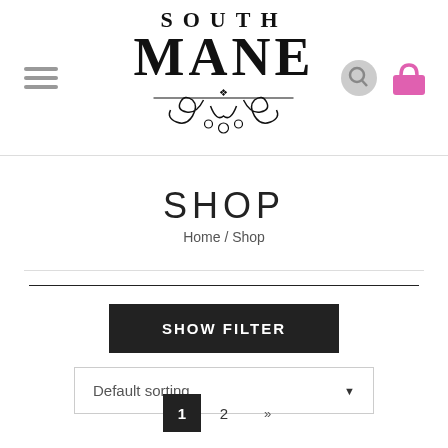[Figure (logo): South Mane logo with decorative serif text and ornamental swirl design below]
SHOP
Home / Shop
SHOW FILTER
Default sorting
1 2 »